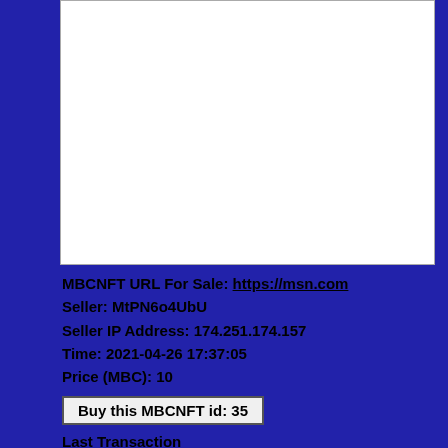[Figure (other): White rectangular preview area with gray border, representing an NFT/URL preview image placeholder]
MBCNFT URL For Sale: https://msn.com
Seller: MtPN6o4UbU
Seller IP Address: 174.251.174.157
Time: 2021-04-26 17:37:05
Price (MBC): 10
Buy this MBCNFT id: 35
Last Transaction
ID:1ee64eb77c2110d71033a96a6e3b02153cac29d4c7bf5110c